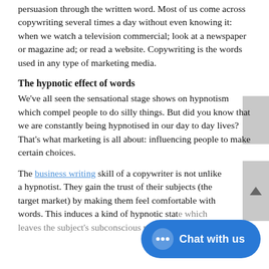persuasion through the written word. Most of us come across copywriting several times a day without even knowing it: when we watch a television commercial; look at a newspaper or magazine ad; or read a website. Copywriting is the words used in any type of marketing media.
The hypnotic effect of words
We've all seen the sensational stage shows on hypnotism which compel people to do silly things. But did you know that we are constantly being hypnotised in our day to day lives? That's what marketing is all about: influencing people to make certain choices.
The business writing skill of a copywriter is not unlike a hypnotist. They gain the trust of their subjects (the target market) by making them feel comfortable with words. This induces a kind of hypnotic state which leaves the subject's subconscious mind open to...